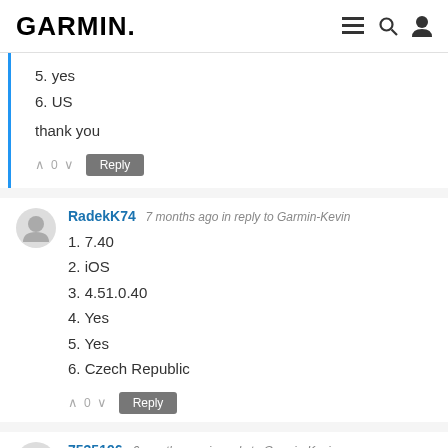GARMIN.
5. yes
6. US
thank you
RadekK74  7 months ago in reply to Garmin-Kevin
1. 7.40
2. iOS
3. 4.51.0.40
4. Yes
5. Yes
6. Czech Republic
7535196  6 months ago in reply to Garmin-Kevin
ios 15.3.1, ios,
version 4.51.1.3